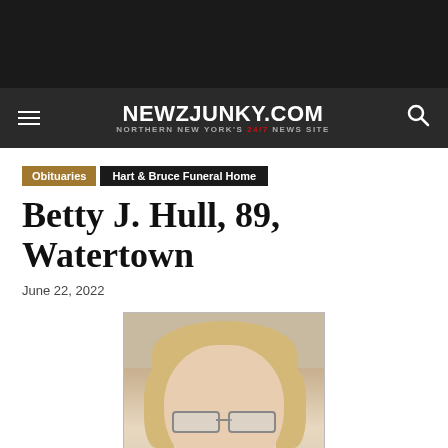NEWZJUNKY.COM — NORTHERN NEW YORK'S 24/7 NEWS SITE
Obituaries  Hart & Bruce Funeral Home
Betty J. Hull, 89, Watertown
June 22, 2022
[Figure (photo): Portrait photo of Betty J. Hull, an elderly woman with light reddish-brown hair and glasses, wearing a light blue shirt]